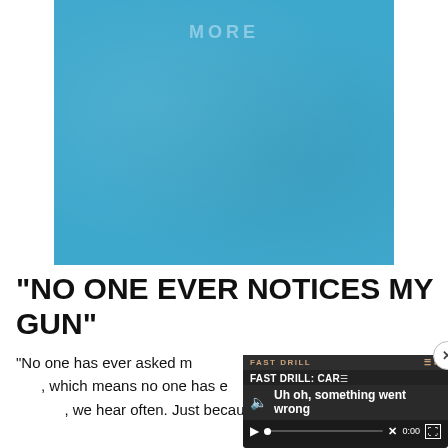[Figure (photo): A blue textured surface (appears to be a book cover or album cover) with faint watermark text reading 'MORE' near the top center.]
“NO ONE EVER NOTICES MY GUN”
“No one has ever asked me [about my gun], which means no one has ever noticed, which we hear often. Just becaus[e no one mentions it...]
[Figure (screenshot): A video player overlay showing 'FAST DRILL: CAR' title with error message 'Uh oh, something went wrong' and playback controls at 0:00. Has a close (x) button in top right corner.]